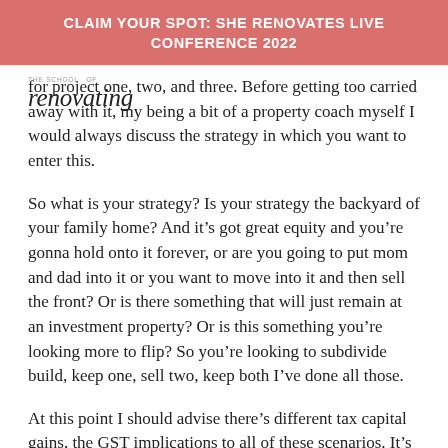CLAIM YOUR SPOT: SHE RENOVATES LIVE CONFERENCE 2022
[Figure (logo): The School of Renovating logo with cursive script]
for project one, two, and three. Before getting too carried away with it, my being a bit of a property coach myself I would always discuss the strategy in which you want to enter this.
So what is your strategy? Is your strategy the backyard of your family home? And it’s got great equity and you’re gonna hold onto it forever, or are you going to put mom and dad into it or you want to move into it and then sell the front? Or is there something that will just remain at an investment property? Or is this something you’re looking more to flip? So you’re looking to subdivide build, keep one, sell two, keep both I’ve done all those.
At this point I should advise there’s different tax capital gains, the GST implications to all of these scenarios. It’s also an early stage or a good time to be chatting with your friendly accountant.